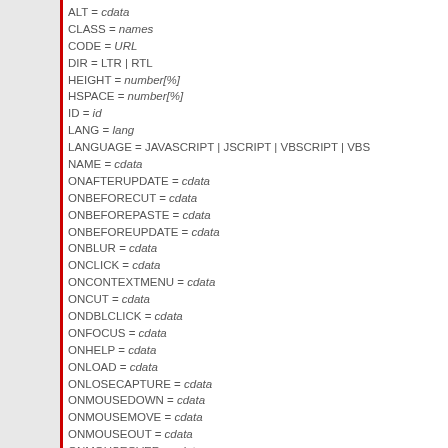ALT = cdata
CLASS = names
CODE = URL
DIR = LTR | RTL
HEIGHT = number[%]
HSPACE = number[%]
ID = id
LANG = lang
LANGUAGE = JAVASCRIPT | JSCRIPT | VBSCRIPT | VBS
NAME = cdata
ONAFTERUPDATE = cdata
ONBEFORECUT = cdata
ONBEFOREPASTE = cdata
ONBEFOREUPDATE = cdata
ONBLUR = cdata
ONCLICK = cdata
ONCONTEXTMENU = cdata
ONCUT = cdata
ONDBLCLICK = cdata
ONFOCUS = cdata
ONHELP = cdata
ONLOAD = cdata
ONLOSECAPTURE = cdata
ONMOUSEDOWN = cdata
ONMOUSEMOVE = cdata
ONMOUSEOUT = cdata
ONMOUSEOVER = cdata
ONMOUSEUP = cdata
ONPASTE = cdata
ONPROPERTYCHANGE = cdata
ONREADYSTATECHANGE = cdata
ONRESIZE = cdata